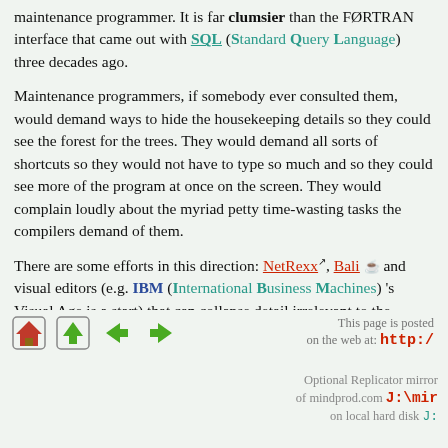maintenance programmer. It is far clumsier than the FØRTRAN interface that came out with SQL (Standard Query Language) three decades ago.
Maintenance programmers, if somebody ever consulted them, would demand ways to hide the housekeeping details so they could see the forest for the trees. They would demand all sorts of shortcuts so they would not have to type so much and so they could see more of the program at once on the screen. They would complain loudly about the myriad petty time-wasting tasks the compilers demand of them.
There are some efforts in this direction: NetRexx, Bali and visual editors (e.g. IBM (International Business Machines) 's Visual Age is a start) that can collapse detail irrelevant to the current purpose.
[Figure (infographic): Navigation icons: house, up arrow, left arrow, right arrow]
This page is posted on the web at: http:/...
Optional Replicator mirror of mindprod.com J:\mir... on local hard disk J: